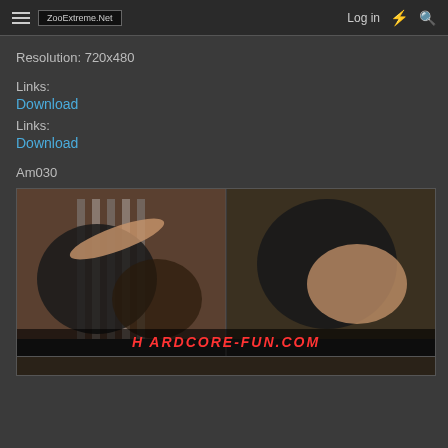ZooExtreme.Net  Log in
Resolution: 720x480
Links:
Download
Links:
Download
Am030
[Figure (photo): Video thumbnail showing two side-by-side frames with watermark HARDCORE-FUN.COM at bottom]
[Figure (photo): Partial second thumbnail row]